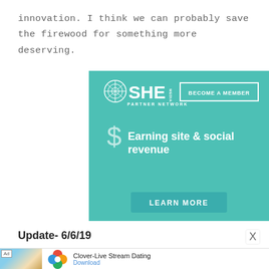innovation. I think we can probably save the firewood for something more deserving.
[Figure (infographic): SHE Media Partner Network advertisement with teal background. Shows SHE MEDIA logo, 'BECOME A MEMBER' button, dollar sign icon with text 'Earning site & social revenue', and a 'LEARN MORE' button at the bottom.]
Update- 6/6/19
[Figure (infographic): Bottom banner advertisement for Clover-Live Stream Dating app showing beach photo thumbnail, Clover app icon with colorful petals, app name and Download link.]